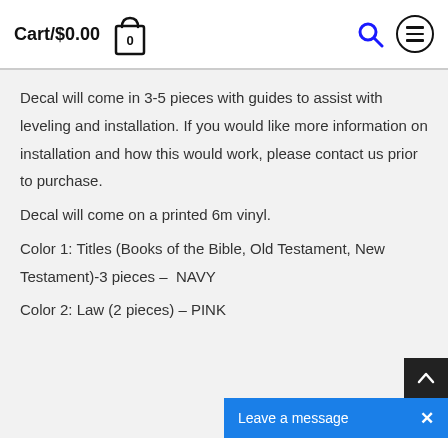Cart/$0.00 [bag icon with 0]
Decal will come in 3-5 pieces with guides to assist with leveling and installation. If you would like more information on installation and how this would work, please contact us prior to purchase.
Decal will come on a printed 6m vinyl.
Color 1: Titles (Books of the Bible, Old Testament, New Testament)-3 pieces –  NAVY
Color 2: Law (2 pieces) – PINK